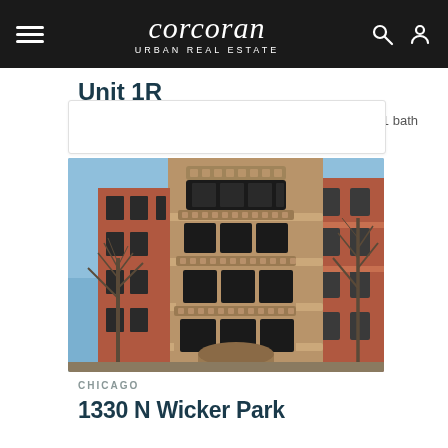corcoran URBAN REAL ESTATE
Unit 1R
$1,900   1 bed  |  1 bath
[Figure (photo): Exterior photo of a historic multi-story red brick building with ornate rounded bay windows and stone detailing, winter trees visible, blue sky background, in Chicago]
CHICAGO
1330 N Wicker Park